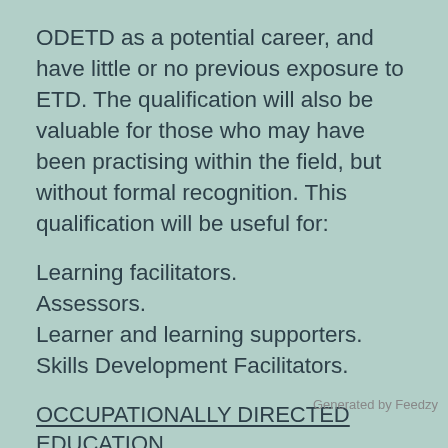ODETD as a potential career, and have little or no previous exposure to ETD. The qualification will also be valuable for those who may have been practising within the field, but without formal recognition. This qualification will be useful for:
Learning facilitators.
Assessors.
Learner and learning supporters.
Skills Development Facilitators.
OCCUPATIONALLY DIRECTED EDUCATION TRAINING & DEVELOPMENT PRACTICES